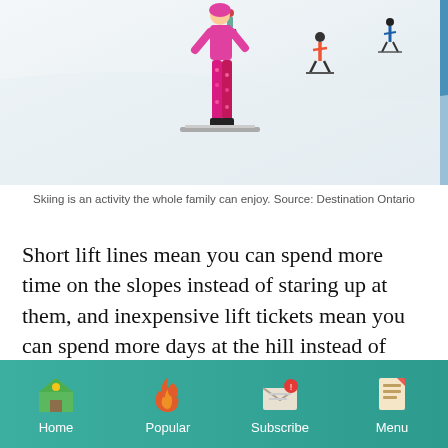[Figure (photo): Child skier in bright pink ski suit and pants on a ski slope. Other skiers visible in background on a snow-covered hill.]
Skiing is an activity the whole family can enjoy. Source: Destination Ontario
Short lift lines mean you can spend more time on the slopes instead of staring up at them, and inexpensive lift tickets mean you can spend more days at the hill instead of staring at your bank account. The more than 16 ski areas here aren't limited to five-run, volunteer-run, T-bar-run establishments
Home  Popular  Subscribe  Menu